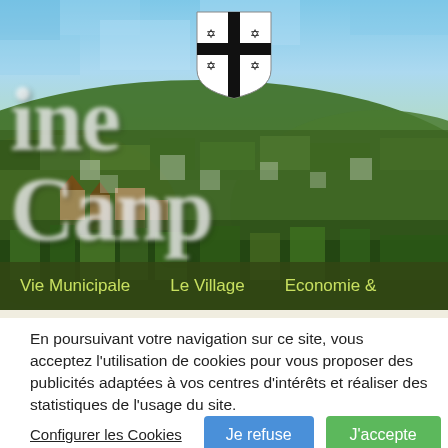[Figure (screenshot): Hero banner of a French village municipality website, showing a pixelated/blurred landscape photo with green hills, buildings, and sky. A heraldic shield logo is visible at the top center with a black cross and star motifs on black and white quarters. Large white blurred text is overlaid on the landscape. Below is a dark olive-green navigation bar with yellow-green menu links: Vie Municipale, Le Village, Economie.]
En poursuivant votre navigation sur ce site, vous acceptez l'utilisation de cookies pour vous proposer des publicités adaptées à vos centres d'intérêts et réaliser des statistiques de l'usage du site.
Configurer les Cookies
Je refuse
J'accepte